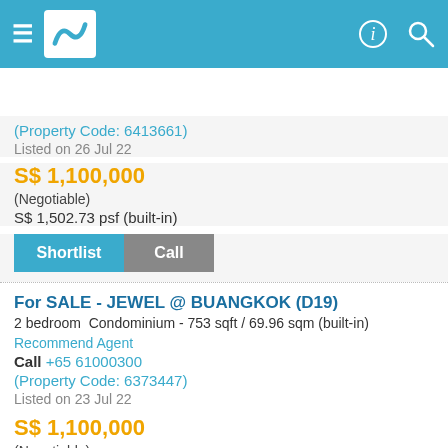Navigation bar with logo and icons
(Property Code: 6413661)
Listed on 26 Jul 22
S$ 1,100,000
(Negotiable)
S$ 1,502.73 psf (built-in)
Shortlist  Call
For SALE - JEWEL @ BUANGKOK (D19)
2 bedroom  Condominium - 753 sqft / 69.96 sqm (built-in)
Recommend Agent
Call +65 61000300
(Property Code: 6373447)
Listed on 23 Jul 22
S$ 1,100,000
(Negotiable)
S$ 1,460.82 psf (built-in)